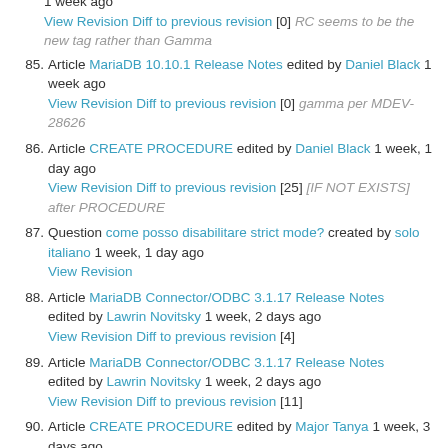1 week ago View Revision Diff to previous revision [0] RC seems to be the new tag rather than Gamma
85. Article MariaDB 10.10.1 Release Notes edited by Daniel Black 1 week ago View Revision Diff to previous revision [0] gamma per MDEV-28626
86. Article CREATE PROCEDURE edited by Daniel Black 1 week, 1 day ago View Revision Diff to previous revision [25] [IF NOT EXISTS] after PROCEDURE
87. Question come posso disabilitare strict mode? created by solo italiano 1 week, 1 day ago View Revision
88. Article MariaDB Connector/ODBC 3.1.17 Release Notes edited by Lawrin Novitsky 1 week, 2 days ago View Revision Diff to previous revision [4]
89. Article MariaDB Connector/ODBC 3.1.17 Release Notes edited by Lawrin Novitsky 1 week, 2 days ago View Revision Diff to previous revision [11]
90. Article CREATE PROCEDURE edited by Major Tanya 1 week, 3 days ago View Revision Diff to previous revision [423] Added rudimentary documentation for IF NOT EXISTS clause